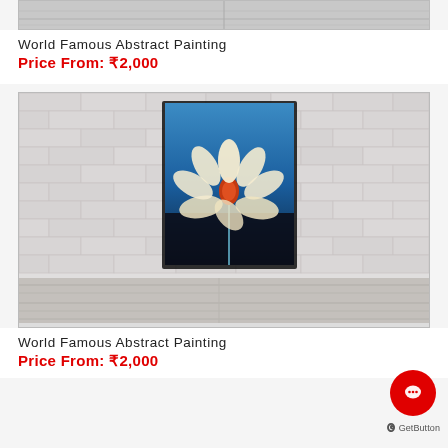[Figure (photo): Partial view of a painting on a wooden shelf/floor background — top portion cropped]
World Famous Abstract Painting
Price From: ₹2,000
[Figure (photo): Painting of a white/golden daisy-like flower with red-orange center on a blue background, displayed against a white brick wall]
World Famous Abstract Painting
Price From: ₹2,000